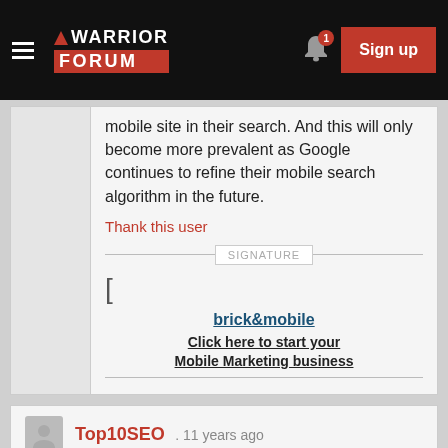Warrior Forum — Sign up
mobile site in their search. And this will only become more prevalent as Google continues to refine their mobile search algorithm in the future.
Thank this user
SIGNATURE
[
brick&mobile
Click here to start your Mobile Marketing business
Top10SEO . 11 years ago